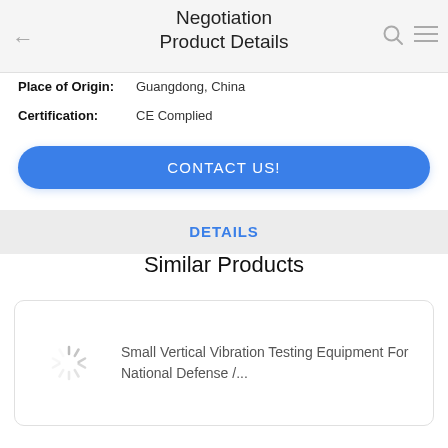Negotiation Product Details
Place of Origin: Guangdong, China
Certification: CE Complied
CONTACT US!
DETAILS
Similar Products
Small Vertical Vibration Testing Equipment For National Defense /...